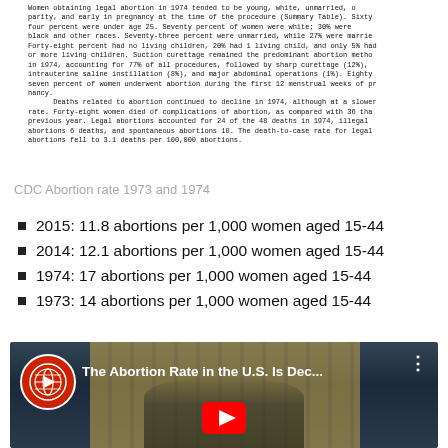[Figure (screenshot): Scanned government document text about women obtaining legal abortion in 1974 and abortion-related deaths statistics.]
CDC Abortion rate 1973 and 1974
2015: 11.8 abortions per 1,000 women aged 15-44
2014: 12.1 abortions per 1,000 women aged 15-44
1974: 17 abortions per 1,000 women aged 15-44
1973: 14 abortions per 1,000 women aged 15-44
[Figure (screenshot): YouTube video thumbnail: 'The Abortion Rate in the U.S. Is Dec...' showing a man in glasses in front of a building with columns, with a YouTube play button overlay.]